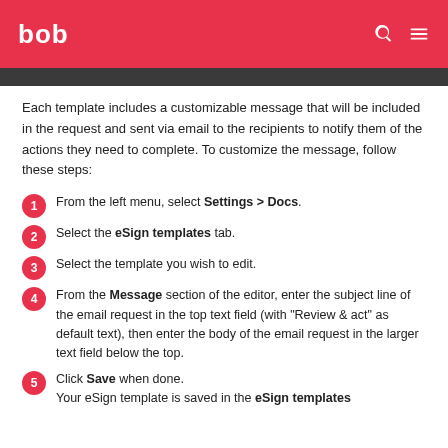bob
Each template includes a customizable message that will be included in the request and sent via email to the recipients to notify them of the actions they need to complete. To customize the message, follow these steps:
From the left menu, select Settings > Docs.
Select the eSign templates tab.
Select the template you wish to edit.
From the Message section of the editor, enter the subject line of the email request in the top text field (with "Review & act" as default text), then enter the body of the email request in the larger text field below the top.
Click Save when done. Your eSign template is saved in the eSign templates